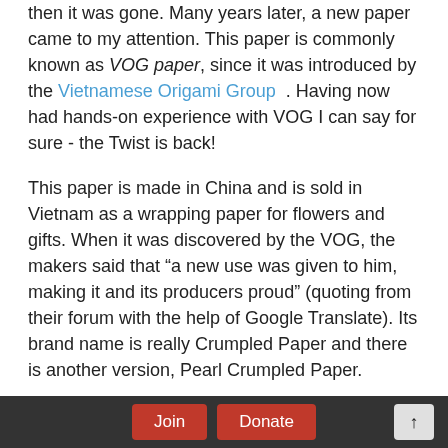then it was gone. Many years later, a new paper came to my attention. This paper is commonly known as VOG paper, since it was introduced by the Vietnamese Origami Group  . Having now had hands-on experience with VOG I can say for sure - the Twist is back!
This paper is made in China and is sold in Vietnam as a wrapping paper for flowers and gifts. When it was discovered by the VOG, the makers said that "a new use was given to him, making it and its producers proud" (quoting from their forum with the help of Google Translate). Its brand name is really Crumpled Paper and there is another version, Pearl Crumpled Paper.
I have no information on the manufacturing process, but according to the published details  , the paper has an "assurance of water resistance and expressive performance" and it's best used for "Floral wrapping, gift
Join   Donate   ↑